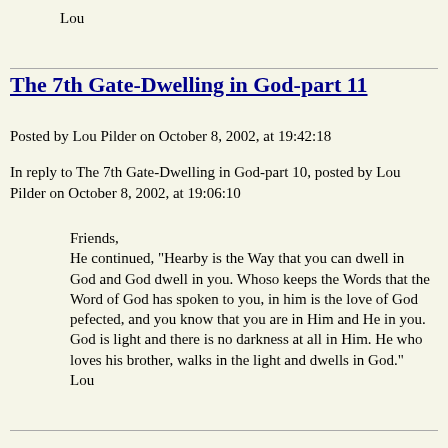Lou
The 7th Gate-Dwelling in God-part 11
Posted by Lou Pilder on October 8, 2002, at 19:42:18
In reply to The 7th Gate-Dwelling in God-part 10, posted by Lou Pilder on October 8, 2002, at 19:06:10
Friends,
He continued, "Hearby is the Way that you can dwell in God and God dwell in you. Whoso keeps the Words that the Word of God has spoken to you, in him is the love of God pefected, and you know that you are in Him and He in you.
God is light and there is no darkness at all in Him. He who loves his brother, walks in the light and dwells in God."
Lou